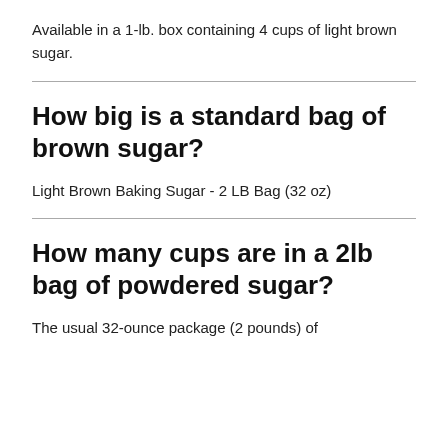Available in a 1-lb. box containing 4 cups of light brown sugar.
How big is a standard bag of brown sugar?
Light Brown Baking Sugar - 2 LB Bag (32 oz)
How many cups are in a 2lb bag of powdered sugar?
The usual 32-ounce package (2 pounds) of